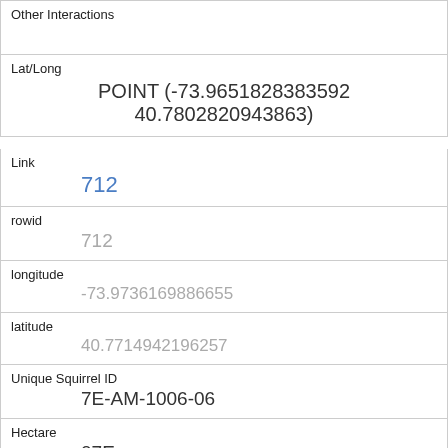Other Interactions
Lat/Long
POINT (-73.9651828383592 40.7802820943863)
Link
712
rowid
712
longitude
-73.9736169886655
latitude
40.7714942196257
Unique Squirrel ID
7E-AM-1006-06
Hectare
07E
Shift
AM
Date
10062018